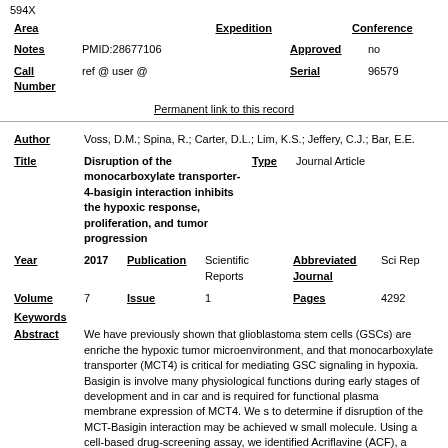594X
| Area | Expedition | Conference |
| --- | --- | --- |
| Notes | PMID:28677106 | Approved | no |
| --- | --- | --- | --- |
| Call Number | ref @ user @ | Serial | 96579 |
| --- | --- | --- | --- |
Permanent link to this record
| Author | Voss, D.M.; Spina, R.; Carter, D.L.; Lim, K.S.; Jeffery, C.J.; Bar, E.E. |
| --- | --- |
| Title | Disruption of the monocarboxylate transporter-4-basigin interaction inhibits the hypoxic response, proliferation, and tumor progression | Type | Journal Article |
| --- | --- | --- | --- |
| Year | 2017 | Publication | Scientific Reports | Abbreviated Journal | Sci Rep |
| --- | --- | --- | --- | --- | --- |
| Volume | 7 | Issue | 1 | Pages | 4292 |
| --- | --- | --- | --- | --- | --- |
Keywords
Abstract
We have previously shown that glioblastoma stem cells (GSCs) are enriched the hypoxic tumor microenvironment, and that monocarboxylate transporter (MCT4) is critical for mediating GSC signaling in hypoxia. Basigin is involved many physiological functions during early stages of development and in car and is required for functional plasma membrane expression of MCT4. We s to determine if disruption of the MCT-Basigin interaction may be achieved w small molecule. Using a cell-based drug-screening assay, we identified Acriflavine (ACF), a small molecule that inhibits the binding between Basigi MCT4. Surface plasmon resonance and cellular thermal shift assays confir